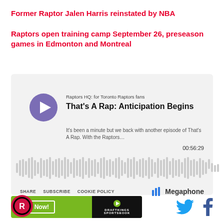Former Raptor Jalen Harris reinstated by NBA
Raptors open training camp September 26, preseason games in Edmonton and Montreal
[Figure (screenshot): Podcast player embed for 'Raptors HQ: for Toronto Raptors fans' episode 'That's A Rap: Anticipation Begins'. Shows play button, episode description, waveform audio visualization at 00:56:29, and footer links for SHARE, SUBSCRIBE, COOKIE POLICY, and Megaphone logo.]
[Figure (screenshot): DraftKings Sportsbook advertisement banner with green background, 'Bet Now!' button, and DraftKings Sportsbook logo]
[Figure (logo): Toronto Raptors circular logo with red background and team emblem]
[Figure (infographic): Twitter and Facebook social media icons in blue and dark blue]